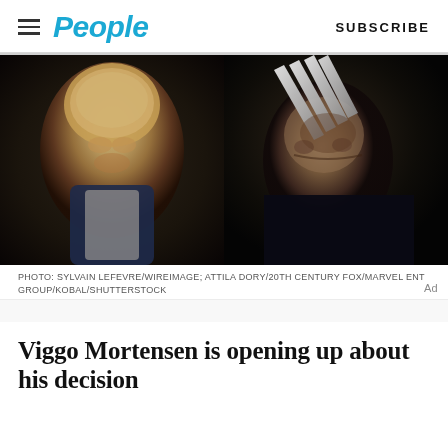People | SUBSCRIBE
[Figure (photo): Split image: left side shows a man with blonde hair in a navy blazer smiling; right side shows Wolverine character in black costume with metal claws extended across face]
PHOTO: SYLVAIN LEFEVRE/WIREIMAGE; ATTILA DORY/20TH CENTURY FOX/MARVEL ENT GROUP/KOBAL/SHUTTERSTOCK
Viggo Mortensen is opening up about his decision